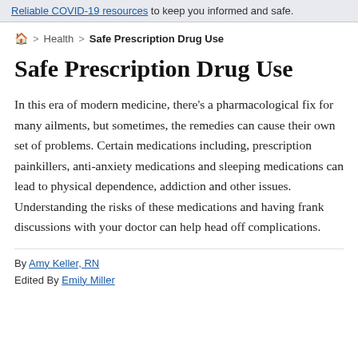Reliable COVID-19 resources to keep you informed and safe.
🏠 > Health > Safe Prescription Drug Use
Safe Prescription Drug Use
In this era of modern medicine, there's a pharmacological fix for many ailments, but sometimes, the remedies can cause their own set of problems. Certain medications including, prescription painkillers, anti-anxiety medications and sleeping medications can lead to physical dependence, addiction and other issues. Understanding the risks of these medications and having frank discussions with your doctor can help head off complications.
By Amy Keller, RN
Edited By Emily Miller